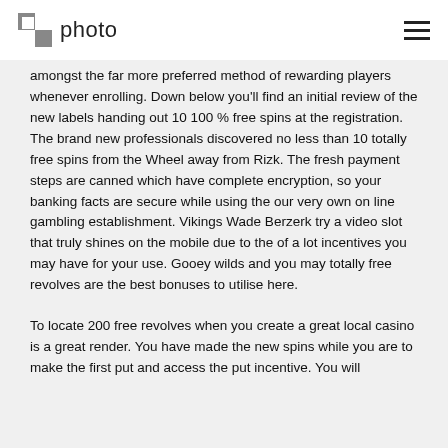photo
amongst the far more preferred method of rewarding players whenever enrolling. Down below you'll find an initial review of the new labels handing out 10 100 % free spins at the registration. The brand new professionals discovered no less than 10 totally free spins from the Wheel away from Rizk. The fresh payment steps are canned which have complete encryption, so your banking facts are secure while using the our very own on line gambling establishment. Vikings Wade Berzerk try a video slot that truly shines on the mobile due to the of a lot incentives you may have for your use. Gooey wilds and you may totally free revolves are the best bonuses to utilise here.
To locate 200 free revolves when you create a great local casino is a great render. You have made the new spins while you are to make the first put and access the put incentive. You will be active to get the new bonuses in casino and